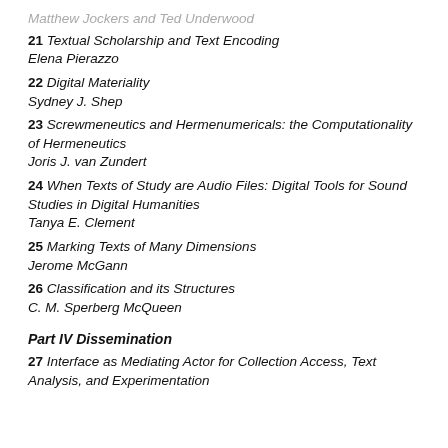21 Textual Scholarship and Text Encoding
Elena Pierazzo
22 Digital Materiality
Sydney J. Shep
23 Screwmeneutics and Hermenumericals: the Computationality of Hermeneutics
Joris J. van Zundert
24 When Texts of Study are Audio Files: Digital Tools for Sound Studies in Digital Humanities
Tanya E. Clement
25 Marking Texts of Many Dimensions
Jerome McGann
26 Classification and its Structures
C. M. Sperberg McQueen
Part IV Dissemination
27 Interface as Mediating Actor for Collection Access, Text Analysis, and Experimentation